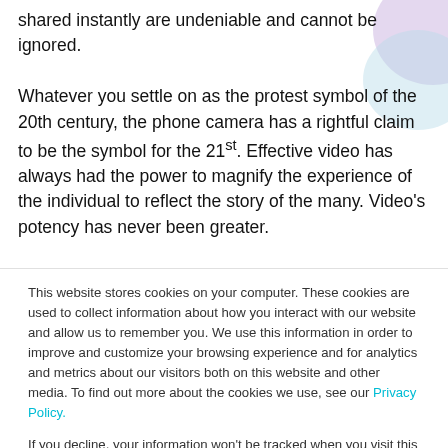shared instantly are undeniable and cannot be ignored.

Whatever you settle on as the protest symbol of the 20th century, the phone camera has a rightful claim to be the symbol for the 21st. Effective video has always had the power to magnify the experience of the individual to reflect the story of the many. Video’s potency has never been greater.
This website stores cookies on your computer. These cookies are used to collect information about how you interact with our website and allow us to remember you. We use this information in order to improve and customize your browsing experience and for analytics and metrics about our visitors both on this website and other media. To find out more about the cookies we use, see our Privacy Policy.

If you decline, your information won’t be tracked when you visit this website. A single cookie will be used in your browser to remember your preference not to be tracked.